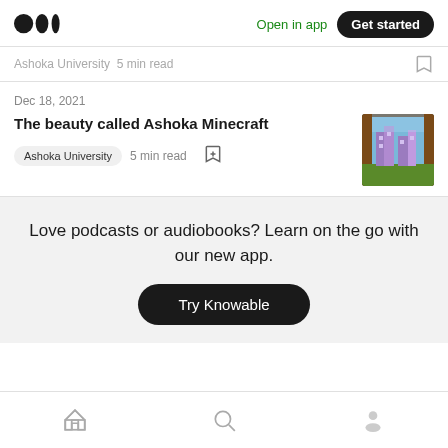Medium logo | Open in app | Get started
Ashoka University · 5 min read
Dec 18, 2021
The beauty called Ashoka Minecraft
Ashoka University   5 min read
[Figure (photo): Minecraft screenshot showing Ashoka University campus buildings — purple/pink towers visible through a window-like frame with green foreground]
Love podcasts or audiobooks? Learn on the go with our new app.
Try Knowable
Home | Search | Profile